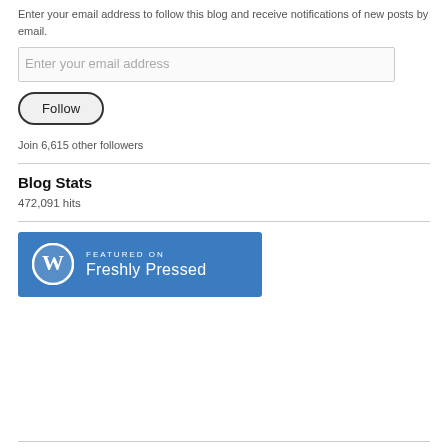Enter your email address to follow this blog and receive notifications of new posts by email.
Enter your email address
Follow
Join 6,615 other followers
Blog Stats
472,091 hits
[Figure (logo): WordPress 'Featured on Freshly Pressed' badge — blue rectangle with WordPress logo circle on left and text 'FEATURED ON Freshly Pressed' on right in white]